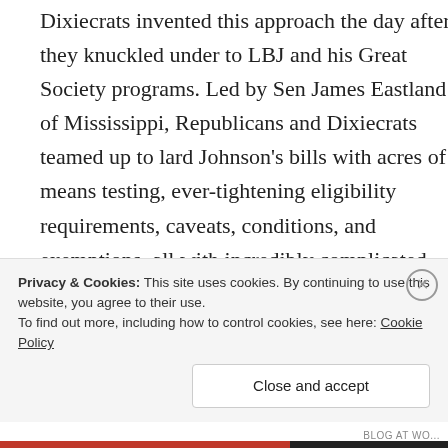Dixiecrats invented this approach the day after they knuckled under to LBJ and his Great Society programs. Led by Sen James Eastland of Mississippi, Republicans and Dixiecrats teamed up to lard Johnson's bills with acres of means testing, ever-tightening eligibility requirements, caveats, conditions, and exemptions, all with incredibly complicated formulas designed to a) keep as many poor people off the roles as possible; b) give the opponents weapons with which they could excuse denying states the funds they were entitled to; and c) create the enormous Federal bureaucracy that would be necessary to
Privacy & Cookies: This site uses cookies. By continuing to use this website, you agree to their use.
To find out more, including how to control cookies, see here: Cookie Policy
Close and accept